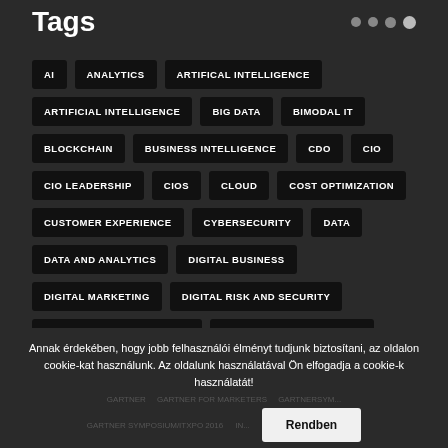Tags
AI
ANALYTICS
ARTIFICAL INTELLIGENCE
ARTIFICIAL INTELLIGENCE
BIG DATA
BIMODAL IT
BLOCKCHAIN
BUSINESS INTELLIGENCE
CDO
CIO
CIO LEADERSHIP
CIOS
CLOUD
COST OPTIMIZATION
CUSTOMER EXPERIENCE
CYBERSECURITY
DATA
DATA AND ANALYTICS
DIGITAL BUSINESS
DIGITAL MARKETING
DIGITAL RISK AND SECURITY
DIGITAL RISK MANAGEMENT
DIGITAL TRANSFORMATION
DIGITAL WORKPLACE
EMERGING TECHNOLOGIES
EVENT
Annak érdekében, hogy jobb felhasználói élményt tudjunk biztosítani, az oldalon cookie-kat használunk. Az oldalunk használatával Ön elfogadja a cookie-k használatát!
Rendben